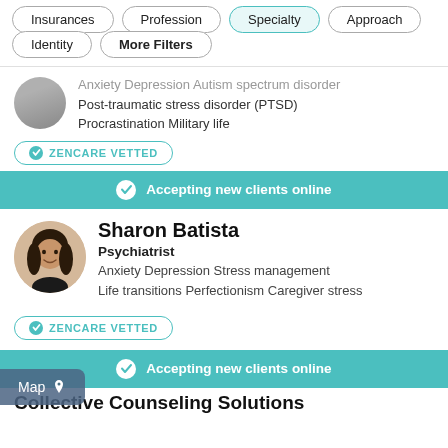Insurances
Profession
Specialty
Approach
Identity
More Filters
Anxiety  Depression  Autism spectrum disorder  Post-traumatic stress disorder (PTSD)  Procrastination  Military life
ZENCARE VETTED
Accepting new clients online
Sharon Batista
Psychiatrist
Anxiety  Depression  Stress management  Life transitions  Perfectionism  Caregiver stress
ZENCARE VETTED
Accepting new clients online
[Figure (photo): Profile photo of Sharon Batista, a woman with dark hair, smiling]
Map
Collective Counseling Solutions